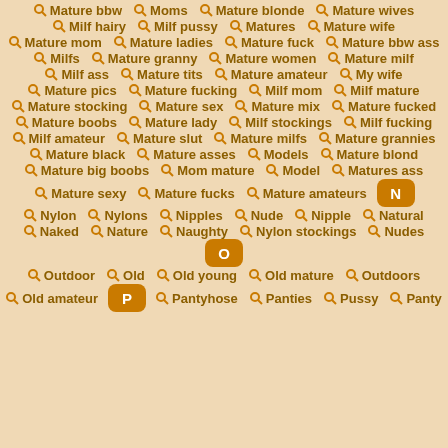Mature bbw | Moms | Mature blonde | Mature wives
Milf hairy | Milf pussy | Matures | Mature wife
Mature mom | Mature ladies | Mature fuck | Mature bbw ass
Milfs | Mature granny | Mature women | Mature milf
Milf ass | Mature tits | Mature amateur | My wife
Mature pics | Mature fucking | Milf mom | Milf mature
Mature stocking | Mature sex | Mature mix | Mature fucked
Mature boobs | Mature lady | Milf stockings | Milf fucking
Milf amateur | Mature slut | Mature milfs | Mature grannies
Mature black | Mature asses | Models | Mature blond
Mature big boobs | Mom mature | Model | Matures ass
Mature sexy | Mature fucks | Mature amateurs | N
Nylon | Nylons | Nipples | Nude | Nipple | Natural
Naked | Nature | Naughty | Nylon stockings | Nudes | O
Outdoor | Old | Old young | Old mature | Outdoors
Old amateur | P | Pantyhose | Panties | Pussy | Panty